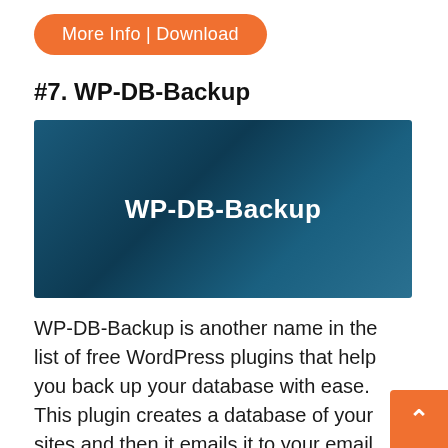[Figure (other): Orange rounded button labeled 'More Info | Download']
#7. WP-DB-Backup
[Figure (illustration): Banner image with dark blue gradient background and white bold text 'WP-DB-Backup' centered]
WP-DB-Backup is another name in the list of free WordPress plugins that help you back up your database with ease. This plugin creates a database of your sites and then it emails it to your email address. However, this plugin can only backup your database and the whole